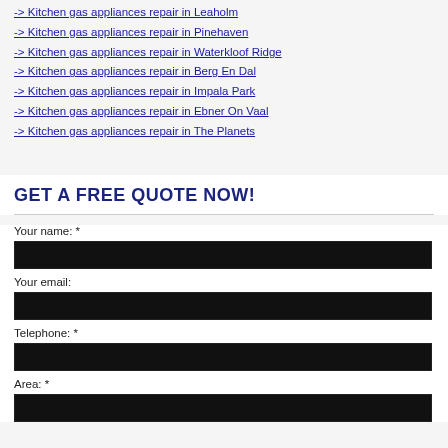-> Kitchen gas appliances repair in Leaholm
-> Kitchen gas appliances repair in Pinehaven
-> Kitchen gas appliances repair in Waterkloof Ridge
-> Kitchen gas appliances repair in Berg En Dal
-> Kitchen gas appliances repair in Impala Park
-> Kitchen gas appliances repair in Ebner On Vaal
-> Kitchen gas appliances repair in The Planets
GET A FREE QUOTE NOW!
Your name: *
Your email:
Telephone: *
Area: *